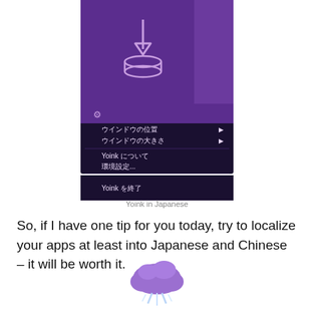[Figure (screenshot): Screenshot of Yoink app running in Japanese, showing a purple UI with a context menu containing Japanese text options: ウインドウの位置, ウインドウの大きさ, Yoink について, 環境設定..., Yoink を終了]
Yoink in Japanese
So, if I have one tip for you today, try to localize your apps at least into Japanese and Chinese – it will be worth it.
[Figure (illustration): Purple cloud emoji with lightning/sparks below it]